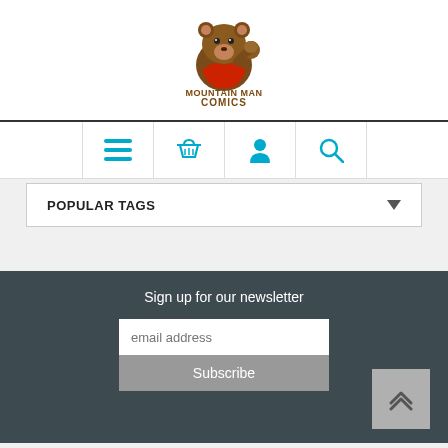[Figure (logo): Mountain Man Comics logo: a bear mascot wearing a red cape, with text 'MOUNTAIN MAN COMICS' in brown/gold lettering]
[Figure (infographic): Navigation bar with four icon buttons: hamburger menu, shopping basket, user profile, and search (magnifying glass), all in cyan/blue color]
POPULAR TAGS
Sign up for our newsletter
[Figure (screenshot): Email address input field with placeholder text 'email address' and a Subscribe button below it, plus a scroll-to-top button on the right]